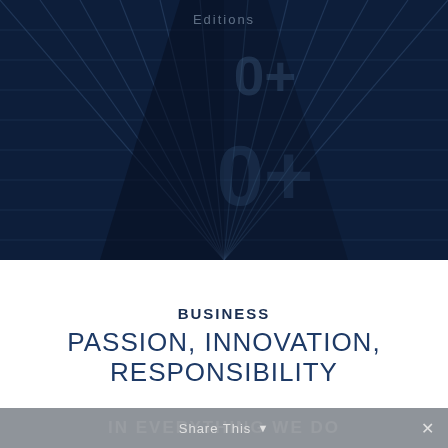[Figure (photo): Dark navy blue abstract architectural background with a geometric grid/diamond pattern, showing converging lines suggesting a modern building facade or glass structure. Faint large text watermarks visible reading '0+' and '0+' overlaid on the image. Small text 'Editions' at the top center.]
BUSINESS
PASSION, INNOVATION, RESPONSIBILITY
IN EVERYTHING WE DO
Share This